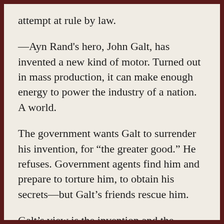attempt at rule by law.
—Ayn Rand's hero, John Galt, has invented a new kind of motor. Turned out in mass production, it can make enough energy to power the industry of a nation. A world.
The government wants Galt to surrender his invention, for “the greater good.” He refuses. Government agents find him and prepare to torture him, to obtain his secrets—but Galt’s friends rescue him.
Galt’s view is the invention and the technology belong to him. He can sell energy to whomever he chooses, and withhold it from whomever he chooses.